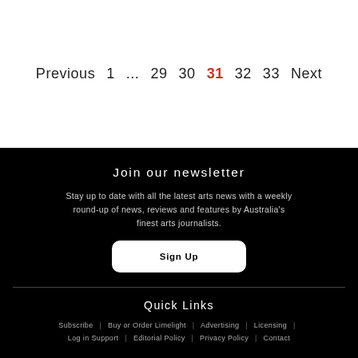Previous  1  ...  29  30  31  32  33  Next
Join our newsletter
Stay up to date with all the latest arts news with a weekly round-up of news, reviews and features by Australia's finest arts journalists.
Sign Up
Quick Links
Subscribe | Buy or Order Limelight | Advertising | Licensing | Log in Support | Editorial Policy | Privacy Policy | Contact